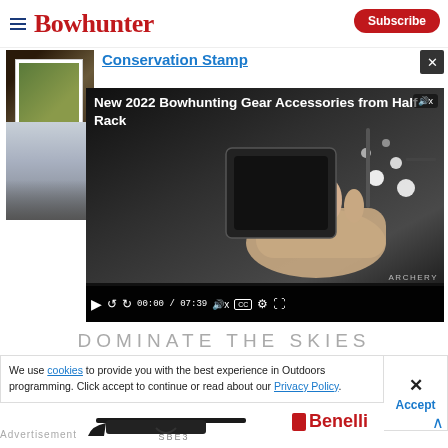Bowhunter
Conservation Stamp
Read Article
[Figure (screenshot): Video player showing 'New 2022 Bowhunting Gear Accessories from Half Rack' with controls showing 00:00 / 07:39]
DOMINATE THE SKIES
We use cookies to provide you with the best experience in Outdoors programming. Click accept to continue or read about our Privacy Policy.
Accept
Advertisement
[Figure (photo): Benelli SBE3 shotgun advertisement showing a black shotgun with Benelli logo]